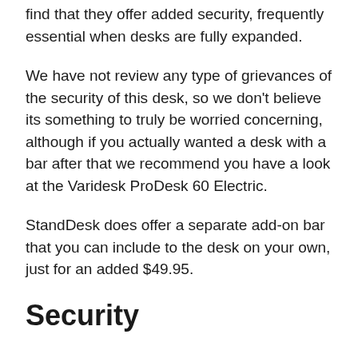find that they offer added security, frequently essential when desks are fully expanded.
We have not review any type of grievances of the security of this desk, so we don't believe its something to truly be worried concerning, although if you actually wanted a desk with a bar after that we recommend you have a look at the Varidesk ProDesk 60 Electric.
StandDesk does offer a separate add-on bar that you can include to the desk on your own, just for an added $49.95.
Security